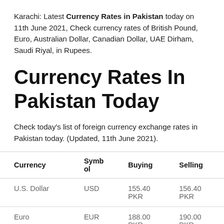Karachi: Latest Currency Rates in Pakistan today on 11th June 2021, Check currency rates of British Pound, Euro, Australian Dollar, Canadian Dollar, UAE Dirham, Saudi Riyal, in Rupees.
Currency Rates In Pakistan Today
Check today's list of foreign currency exchange rates in Pakistan today. (Updated, 11th June 2021).
| Currency | Symbol | Buying | Selling |
| --- | --- | --- | --- |
| U.S. Dollar | USD | 155.40 PKR | 156.40 PKR |
| Euro | EUR | 188.00 PKR | 190.00 PKR |